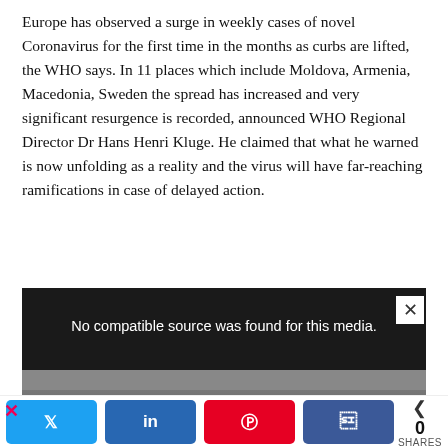Europe has observed a surge in weekly cases of novel Coronavirus for the first time in the months as curbs are lifted, the WHO says. In 11 places which include Moldova, Armenia, Macedonia, Sweden the spread has increased and very significant resurgence is recorded, announced WHO Regional Director Dr Hans Henri Kluge. He claimed that what he warned is now unfolding as a reality and the virus will have far-reaching ramifications in case of delayed action.
[Figure (other): Video media player with black background showing message 'No compatible source was found for this media.' with a grey partial image at the bottom (plant/house scene), and a close X button.]
[Figure (other): Advertisement banner: 'The perfect gift' with bowl image, navigation arrows, and '35% OFF + FREE SHIPPING' offer in gold/yellow. Has a red X dismiss button on the left.]